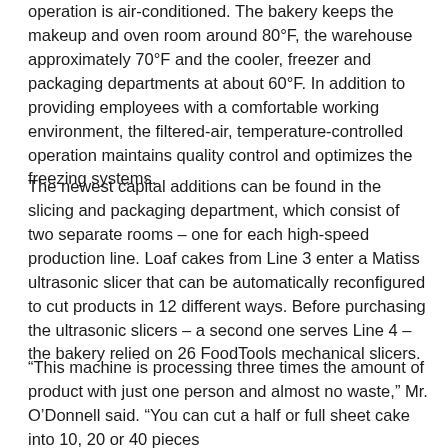operation is air-conditioned. The bakery keeps the makeup and oven room around 80°F, the warehouse approximately 70°F and the cooler, freezer and packaging departments at about 60°F. In addition to providing employees with a comfortable working environment, the filtered-air, temperature-controlled operation maintains quality control and optimizes the freezing systems.
The newest capital additions can be found in the slicing and packaging department, which consist of two separate rooms – one for each high-speed production line. Loaf cakes from Line 3 enter a Matiss ultrasonic slicer that can be automatically reconfigured to cut products in 12 different ways. Before purchasing the ultrasonic slicers – a second one serves Line 4 – the bakery relied on 26 FoodTools mechanical slicers.
“This machine is processing three times the amount of product with just one person and almost no waste,” Mr. O’Donnell said. “You can cut a half or full sheet cake into 10, 20 or 40 pieces